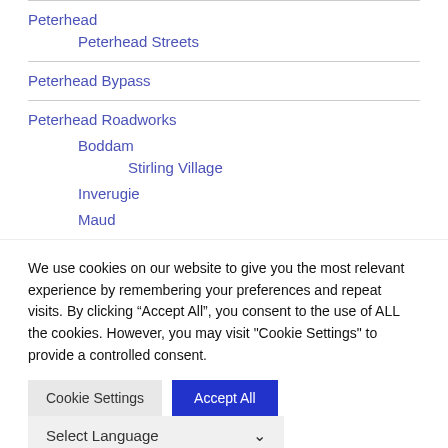Peterhead
Peterhead Streets
Peterhead Bypass
Peterhead Roadworks
Boddam
Stirling Village
Inverugie
Maud
We use cookies on our website to give you the most relevant experience by remembering your preferences and repeat visits. By clicking “Accept All”, you consent to the use of ALL the cookies. However, you may visit "Cookie Settings" to provide a controlled consent.
Cookie Settings | Accept All | Select Language